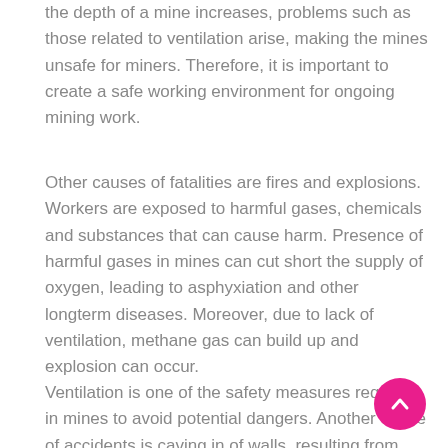the depth of a mine increases, problems such as those related to ventilation arise, making the mines unsafe for miners. Therefore, it is important to create a safe working environment for ongoing mining work.
Other causes of fatalities are fires and explosions. Workers are exposed to harmful gases, chemicals and substances that can cause harm. Presence of harmful gases in mines can cut short the supply of oxygen, leading to asphyxiation and other longterm diseases. Moreover, due to lack of ventilation, methane gas can build up and explosion can occur.
Ventilation is one of the safety measures required in mines to avoid potential dangers. Another cause of accidents is caving in of walls, resulting from deeply excavated mine shafts or the ceiling and